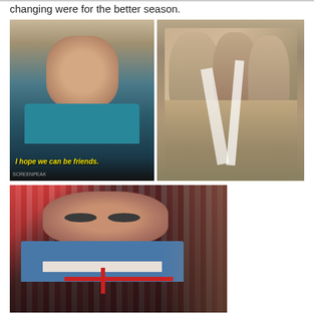changing were for the better season.
[Figure (photo): Man with thick-framed glasses wearing a teal/blue shirt and dark jacket, looking skeptical. Subtitle reads: 'I hope we can be friends.']
[Figure (photo): Group of young men with toilet paper rolls in what appears to be a promotional or promo shot, with wooden background.]
[Figure (photo): Dark-haired man with glasses in a denim shirt and white t-shirt with a red cross design, seated in front of red/colorful background.]